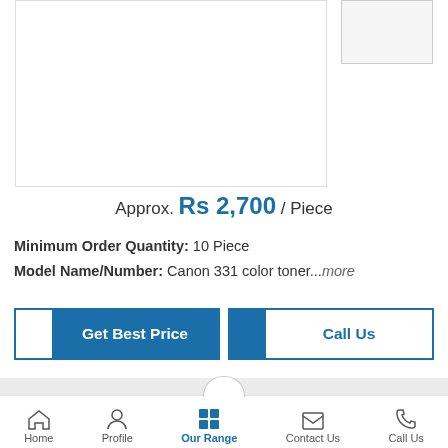[Figure (photo): Product image area with main large white box and smaller thumbnail box on the right]
Approx. Rs 2,700 / Piece
Minimum Order Quantity: 10 Piece
Model Name/Number: Canon 331 color toner...more
[Figure (other): Get Best Price button - half white half blue]
[Figure (other): Call Us button - half blue half white]
Home  Profile  Our Range  Contact Us  Call Us